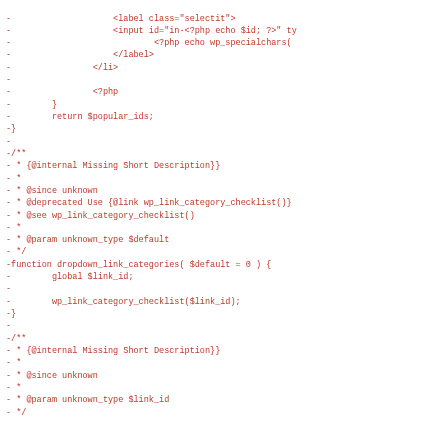[Figure (screenshot): Code diff showing removed PHP/HTML lines in red monospace font. Shows label, input, PHP echo statements, closing tags, return statement, closing brace, PHPDoc comment block for dropdown_link_categories function, and another PHPDoc comment block beginning.]